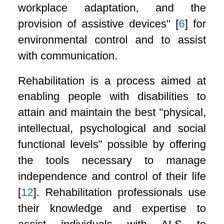workplace adaptation, and the provision of assistive devices" [6] for environmental control and to assist with communication.
Rehabilitation is a process aimed at enabling people with disabilities to attain and maintain the best "physical, intellectual, psychological and social functional levels" possible by offering the tools necessary to manage independence and control of their life [12]. Rehabilitation professionals use their knowledge and expertise to assist individuals with ALS to understand the disease progression, control symptoms, manage expectations, address communication issues, identify and address end of life issues, fulfill equipment needs, provide counselling and support, and advise on social assistance [13]. This broad range of tasks fulfilled by